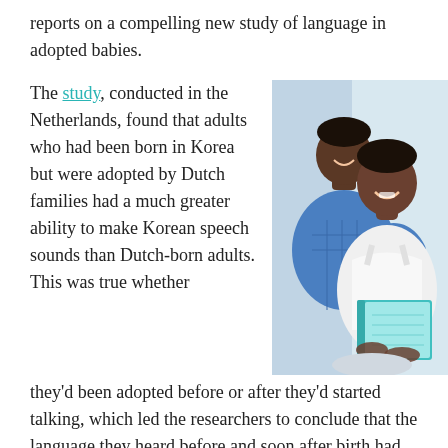reports on a compelling new study of language in adopted babies.
The study, conducted in the Netherlands, found that adults who had been born in Korea but were adopted by Dutch families had a much greater ability to make Korean speech sounds than Dutch-born adults. This was true whether
[Figure (photo): A smiling couple, a man and a woman, both Black, sitting together and reading a teal/blue book. The woman is in a white top and the man is in a blue plaid shirt.]
they'd been adopted before or after they'd started talking, which led the researchers to conclude that the language they heard before and soon after birth had affected their ability to distinguish and produce speech sounds. These findings build upon those of a 2012 study